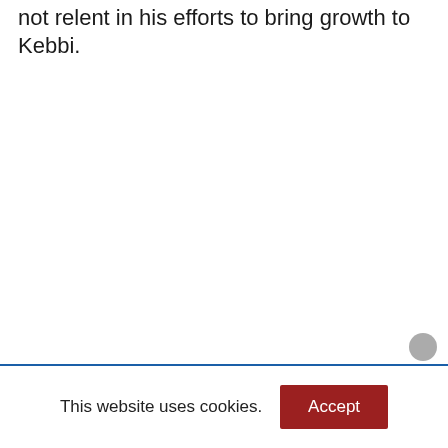not relent in his efforts to bring growth to Kebbi.
This website uses cookies.
Accept